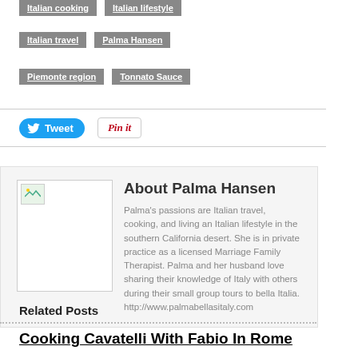Italian cooking
Italian lifestyle
Italian travel
Palma Hansen
Piemonte region
Tonnato Sauce
Tweet  Pin it
About Palma Hansen
Palma's passions are Italian travel, cooking, and living an Italian lifestyle in the southern California desert. She is in private practice as a licensed Marriage Family Therapist. Palma and her husband love sharing their knowledge of Italy with others during their small group tours to bella Italia. http://www.palmabellasitaly.com
Related Posts
Cooking Cavatelli With Fabio In Rome